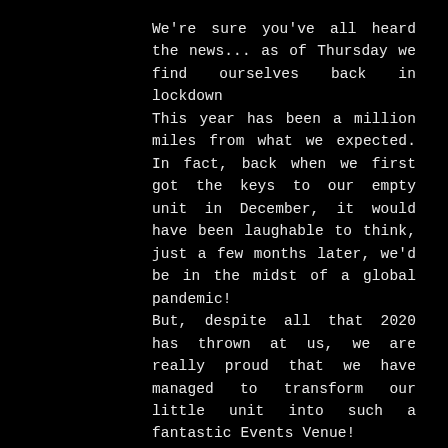We're sure you've all heard the news... as of Thursday we find ourselves back in lockdown
This year has been a million miles from what we expected. In fact, back when we first got the keys to our empty unit in December, it would have been laughable to think, just a few months later, we'd be in the midst of a global pandemic!

But, despite all that 2020 has thrown at us, we are really proud that we have managed to transform our little unit into such a fantastic Events Venue!

The support for the Crooked Crow Bar has been genuinely overwhelming and